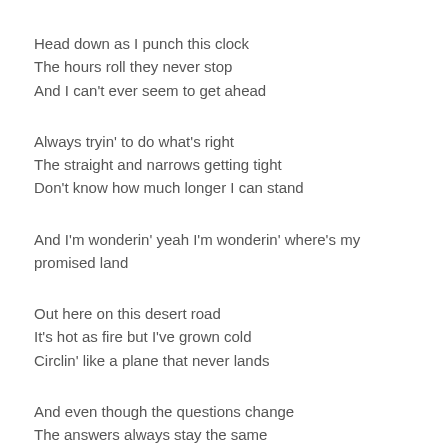Head down as I punch this clock
The hours roll they never stop
And I can't ever seem to get ahead
Always tryin' to do what's right
The straight and narrows getting tight
Don't know how much longer I can stand
And I'm wonderin' yeah I'm wonderin' where's my promised land
Out here on this desert road
It's hot as fire but I've grown cold
Circlin' like a plane that never lands
And even though the questions change
The answers always stay the same